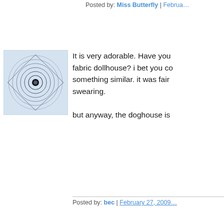Posted by: Miss Butterfly | February...
[Figure (illustration): Spirograph-style avatar with concentric rings in blue-gray on white background]
It is very adorable. Have you... fabric dollhouse? i bet you co... something similar. it was fair... swearing.

but anyway, the doghouse is...
Posted by: bec | February 27, 2009...
[Figure (illustration): Green sunburst avatar with rays on white background]
But where's the zipper? This... project that required cursing,...
Posted by: Chris | February 27, 200...
[Figure (illustration): Green flower/snowflake pattern avatar on white background]
Well, I don't blame you, but it... beautifully! He will be so thrill...
Posted by: Elaine/MuddlingThrough... 04:32 PM
[Figure (illustration): Spirograph-style avatar similar to first one]
But it does look rather wonder...